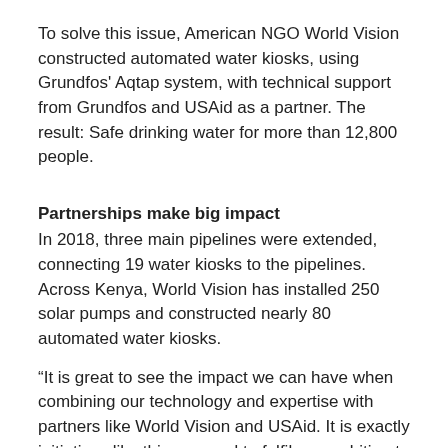To solve this issue, American NGO World Vision constructed automated water kiosks, using Grundfos' Aqtap system, with technical support from Grundfos and USAid as a partner. The result: Safe drinking water for more than 12,800 people.
Partnerships make big impact
In 2018, three main pipelines were extended, connecting 19 water kiosks to the pipelines. Across Kenya, World Vision has installed 250 solar pumps and constructed nearly 80 automated water kiosks.
“It is great to see the impact we can have when combining our technology and expertise with partners like World Vision and USAid. It is exactly initiatives like this we need to fulfil our ambition to provide 300 million people with safe, reliable water by 2030,” says Peter Trillingsgaard, Group VP for Communications, Public Affairs, Engagement and Sustainability, Grundfos.
Durable solutions